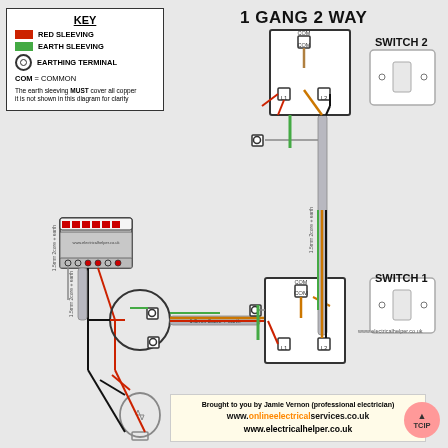1 GANG 2 WAY
[Figure (schematic): 1 gang 2 way light switch wiring diagram showing a consumer unit (fuse box), two 1-gang 2-way switches (Switch 1 and Switch 2), a light bulb, junction box with earth terminal, and wiring cables labeled 1.5mm 2core + earth. Wires shown: red (live), black (neutral), brown (switched live), and green/yellow (earth with sleeving). Connections shown from consumer unit via 1.5mm cable to junction box, then to Switch 1 (COM, L1, L2) and Switch 2 (COM, L1, L2), with earth terminals at junction points.]
KEY
RED SLEEVING
EARTH SLEEVING
EARTHING TERMINAL
COM = COMMON
The earth sleeving MUST cover all copper it is not shown in this diagram for clarity
SWITCH 2
SWITCH 1
www.electricalhelper.co.uk
Brought to you by Jamie Vernon (professional electrician)
www.onlineelectricalservices.co.uk
www.electricalhelper.co.uk